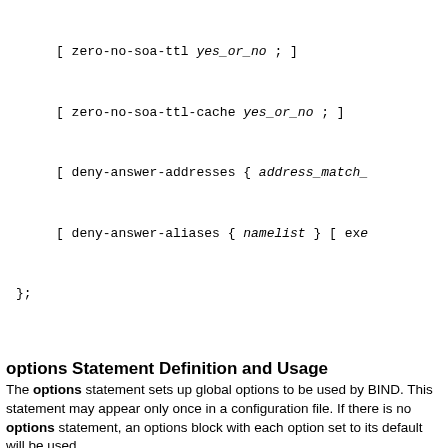[ zero-no-soa-ttl yes_or_no ; ]
[ zero-no-soa-ttl-cache yes_or_no ; ]
[ deny-answer-addresses { address_match_...
[ deny-answer-aliases { namelist } [ ex...
};
options Statement Definition and Usage
The options statement sets up global options to be used by BIND. This statement may appear only once in a configuration file. If there is no options statement, an options block with each option set to its default will be used.
attach-cache
Allows multiple views to share a single cache database. Each view has its own cache database by default, but if multiple views have the same operational policy for name resolution and caching, those views can share a single cache to save memory and possibly improve resolution efficiency by using this option.
The attach-cache option may also be specified in view statements, in which case it overrides the global attach-cache